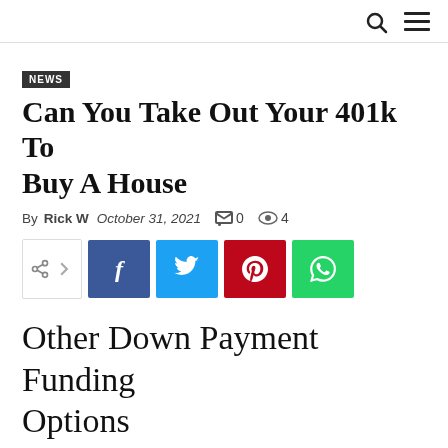NEWS
Can You Take Out Your 401k To Buy A House
By Rick W  October 31, 2021  0  4
[Figure (other): Social share buttons: share, Facebook, Twitter, Pinterest, WhatsApp]
Other Down Payment Funding Options